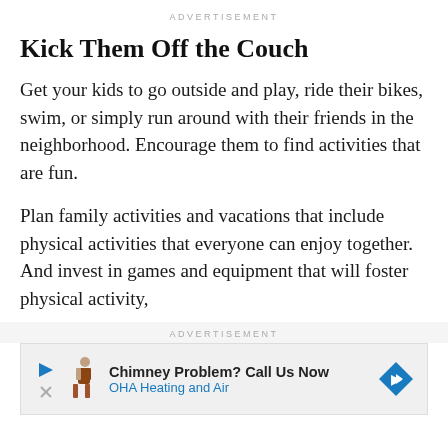ADVERTISEMENT
Kick Them Off the Couch
Get your kids to go outside and play, ride their bikes, swim, or simply run around with their friends in the neighborhood. Encourage them to find activities that are fun.
Plan family activities and vacations that include physical activities that everyone can enjoy together. And invest in games and equipment that will foster physical activity,
ADVERTISEMENT
[Figure (infographic): Advertisement banner: Chimney Problem? Call Us Now - OHA Heating and Air, with play button, person icon, and directional arrow icon]